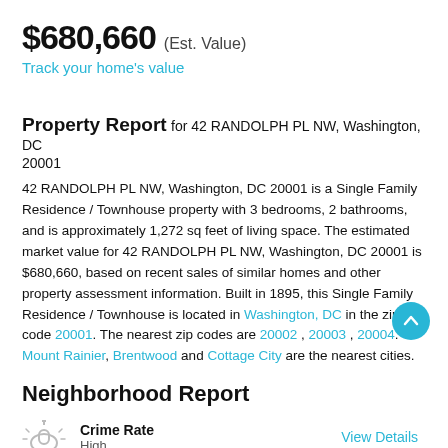$680,660 (Est. Value)
Track your home's value
Property Report for 42 RANDOLPH PL NW, Washington, DC 20001
42 RANDOLPH PL NW, Washington, DC 20001 is a Single Family Residence / Townhouse property with 3 bedrooms, 2 bathrooms, and is approximately 1,272 sq feet of living space. The estimated market value for 42 RANDOLPH PL NW, Washington, DC 20001 is $680,660, based on recent sales of similar homes and other property assessment information. Built in 1895, this Single Family Residence / Townhouse is located in Washington, DC in the zip code 20001. The nearest zip codes are 20002 , 20003 , 20004. Mount Rainier, Brentwood and Cottage City are the nearest cities.
Neighborhood Report
Crime Rate
High
View Details